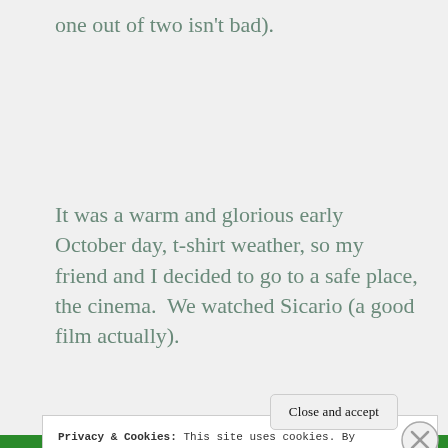one out of two isn't bad).
It was a warm and glorious early October day, t-shirt weather, so my friend and I decided to go to a safe place, the cinema.  We watched Sicario (a good film actually).
Privacy & Cookies: This site uses cookies. By continuing to use this website, you agree to their use.
To find out more, including how to control cookies, see here: Cookie Policy
Close and accept